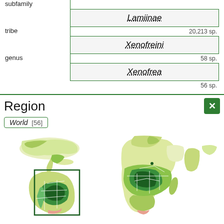| subfamily |  |
| Lamiinae |  |
|  | 20,213 sp. |
| tribe |  |
| Xenofreini |  |
|  | 58 sp. |
| genus |  |
| Xenofrea |  |
|  | 56 sp. |
Region
World [56]
[Figure (map): World distribution map showing geographic regions colored in shades of green indicating species presence. Left panel shows Americas with a highlighted box around South America. Right panel shows Africa, Europe, and Asia with green shading indicating species distribution.]